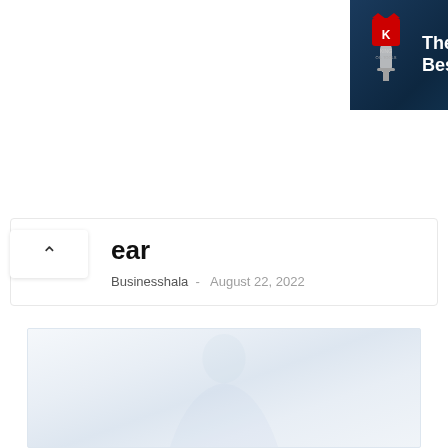[Figure (photo): Advertisement banner for King Oil Tools - 'The Drillers' Best Friend' with King logo on dark blue background. Has an ad badge (play icon and X) in the top right corner.]
ear
Businesshala  -  August 22, 2022
[Figure (photo): Faded/very light image of a person, appears to be a portrait or article illustration with very low contrast against the white/light blue background.]